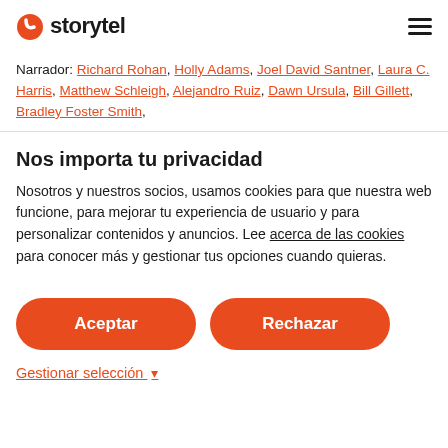storytel
Narrador: Richard Rohan, Holly Adams, Joel David Santner, Laura C. Harris, Matthew Schleigh, Alejandro Ruiz, Dawn Ursula, Bill Gillett, Bradley Foster Smith,
Nos importa tu privacidad
Nosotros y nuestros socios, usamos cookies para que nuestra web funcione, para mejorar tu experiencia de usuario y para personalizar contenidos y anuncios. Lee acerca de las cookies para conocer más y gestionar tus opciones cuando quieras.
Aceptar
Rechazar
Gestionar selección